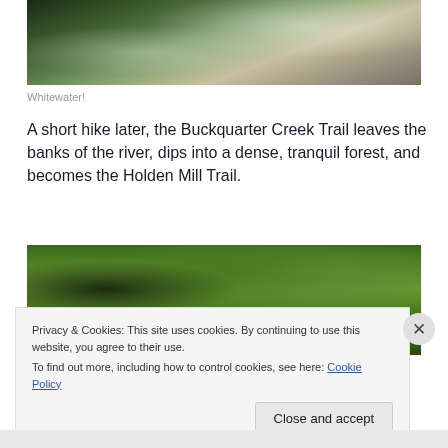[Figure (photo): Whitewater river scene with mossy rocks and flowing water, viewed from above]
Whitewater!
A short hike later, the Buckquarter Creek Trail leaves the banks of the river, dips into a dense, tranquil forest, and becomes the Holden Mill Trail.
[Figure (photo): Dense green forest with tall trees and lush green foliage canopy]
Privacy & Cookies: This site uses cookies. By continuing to use this website, you agree to their use.
To find out more, including how to control cookies, see here: Cookie Policy
Close and accept